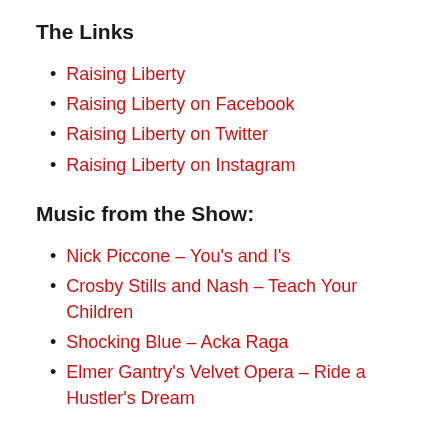The Links
Raising Liberty
Raising Liberty on Facebook
Raising Liberty on Twitter
Raising Liberty on Instagram
Music from the Show:
Nick Piccone – You's and I's
Crosby Stills and Nash – Teach Your Children
Shocking Blue – Acka Raga
Elmer Gantry's Velvet Opera – Ride a Hustler's Dream
If you're enjoying the show, you can join the discussion on the Homesteaded Homeschool